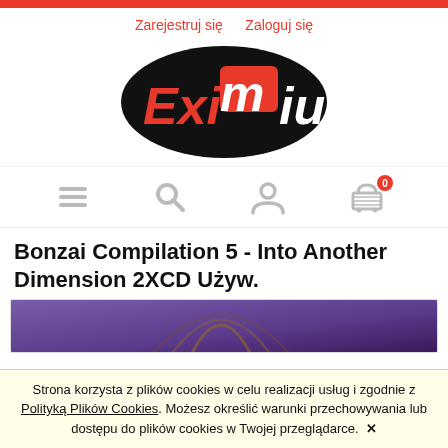Zarejestruj się   Zaloguj się
[Figure (logo): Eximius logo — black oval with red and white stylized text 'Eximius']
[Figure (infographic): Navigation icon bar with hamburger menu, search, user profile, and shopping cart icons. Cart shows badge with '0'.]
Bonzai Compilation 5 - Into Another Dimension 2XCD Używ.
[Figure (photo): Product image showing a CD album cover with purple/brown tones]
Strona korzysta z plików cookies w celu realizacji usług i zgodnie z Polityką Plików Cookies. Możesz określić warunki przechowywania lub dostępu do plików cookies w Twojej przeglądarce.